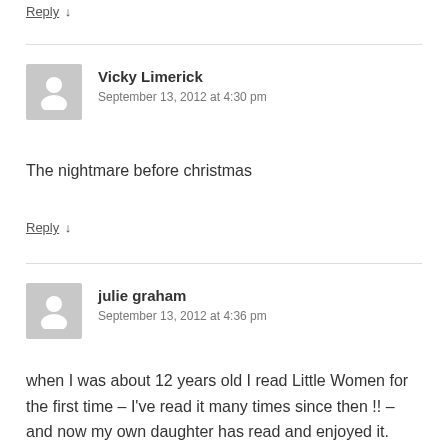Reply ↓
Vicky Limerick
September 13, 2012 at 4:30 pm
The nightmare before christmas
Reply ↓
julie graham
September 13, 2012 at 4:36 pm
when I was about 12 years old I read Little Women for the first time – I've read it many times since then !! – and now my own daughter has read and enjoyed it. Wonderful!